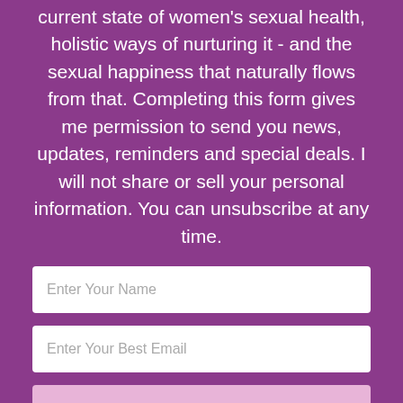current state of women's sexual health, holistic ways of nurturing it - and the sexual happiness that naturally flows from that. Completing this form gives me permission to send you news, updates, reminders and special deals. I will not share or sell your personal information. You can unsubscribe at any time.
Enter Your Name
Enter Your Best Email
TELL ME MORE